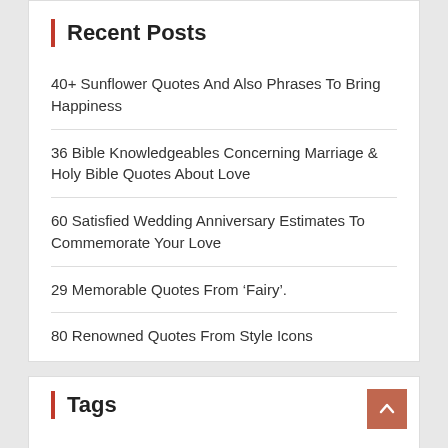Recent Posts
40+ Sunflower Quotes And Also Phrases To Bring Happiness
36 Bible Knowledgeables Concerning Marriage & Holy Bible Quotes About Love
60 Satisfied Wedding Anniversary Estimates To Commemorate Your Love
29 Memorable Quotes From 'Fairy'.
80 Renowned Quotes From Style Icons
Tags
about amusing attractions beach birthday brandnew california celebration center coastline delighted